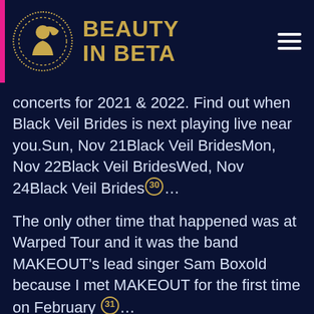BEAUTY IN BETA
concerts for 2021 & 2022. Find out when Black Veil Brides is next playing live near you.Sun, Nov 21Black Veil BridesMon, Nov 22Black Veil BridesWed, Nov 24Black Veil Brides(30)...
The only other time that happened was at Warped Tour and it was the band MAKEOUT's lead singer Sam Boxold because I met MAKEOUT for the first time on February (31)...